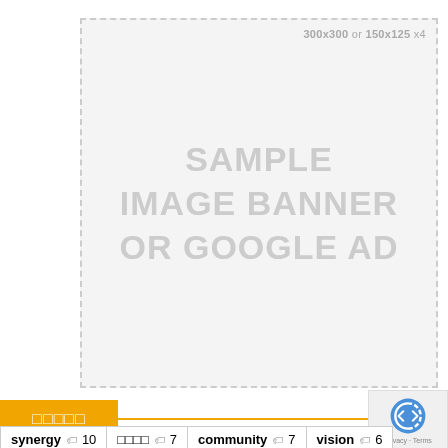[Figure (other): Sample image banner or Google Ad placeholder with dashed border. Text reads: '300x300 or 150x125 x4' and 'SAMPLE IMAGE BANNER OR GOOGLE AD']
□□□□□
synergy 🏷 10
□□□□ 🏷 7
community 🏷 7
vision 🏷 6